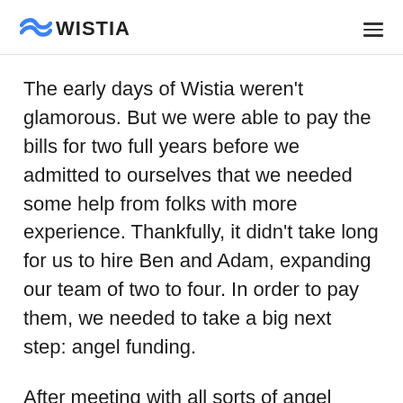WISTIA
The early days of Wistia weren't glamorous. But we were able to pay the bills for two full years before we admitted to ourselves that we needed some help from folks with more experience. Thankfully, it didn't take long for us to hire Ben and Adam, expanding our team of two to four. In order to pay them, we needed to take a big next step: angel funding.
After meeting with all sorts of angel investors, we eventually closed our first round of funding —$650,000.